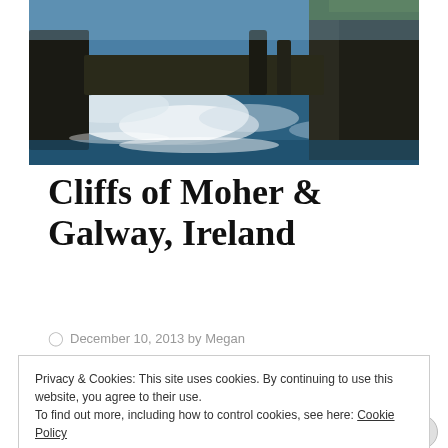[Figure (photo): Photograph of the Cliffs of Moher in Ireland showing rough ocean waves crashing against dramatic tall sea cliffs under a blue sky.]
Cliffs of Moher & Galway, Ireland
December 10, 2013 by Megan
Privacy & Cookies: This site uses cookies. By continuing to use this website, you agree to their use.
To find out more, including how to control cookies, see here: Cookie Policy
Close and accept
Advertisements